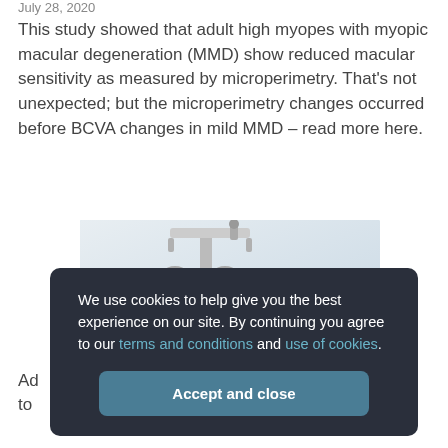July 28, 2020
This study showed that adult high myopes with myopic macular degeneration (MMD) show reduced macular sensitivity as measured by microperimetry. That’s not unexpected; but the microperimetry changes occurred before BCVA changes in mild MMD – read more here.
[Figure (photo): Photo of a slit lamp / phoropter ophthalmic examination device against a light background]
Ad to
We use cookies to help give you the best experience on our site. By continuing you agree to our terms and conditions and use of cookies.